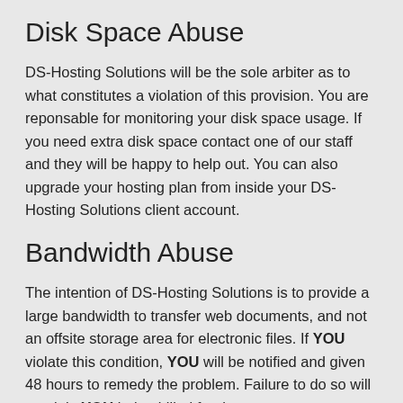Disk Space Abuse
DS-Hosting Solutions will be the sole arbiter as to what constitutes a violation of this provision. You are reponsable for monitoring your disk space usage. If you need extra disk space contact one of our staff and they will be happy to help out. You can also upgrade your hosting plan from inside your DS-Hosting Solutions client account.
Bandwidth Abuse
The intention of DS-Hosting Solutions is to provide a large bandwidth to transfer web documents, and not an offsite storage area for electronic files. If YOU violate this condition, YOU will be notified and given 48 hours to remedy the problem. Failure to do so will result in YOU being billed for the overages.
Traffic will go unmonitored until YOU reach the amount